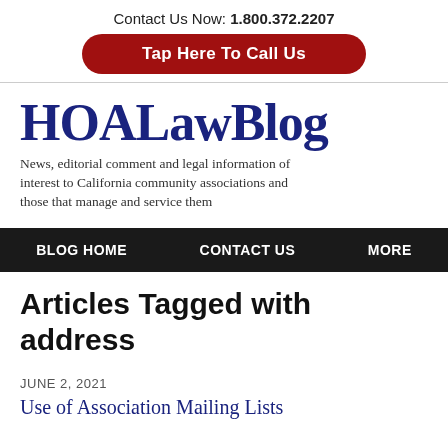Contact Us Now: 1.800.372.2207
Tap Here To Call Us
HOALawBlog
News, editorial comment and legal information of interest to California community associations and those that manage and service them
BLOG HOME  CONTACT US  MORE
Articles Tagged with address
JUNE 2, 2021
Use of Association Mailing Lists